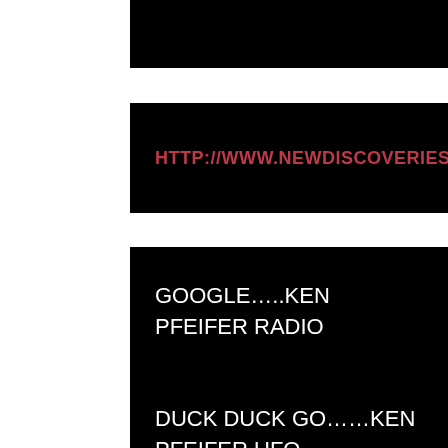[Figure (other): Black banner rectangle at top of page]
HTTP://WWW.NEWDISCOVERIES51.
GOOGLE…..KEN PFEIFER RADIO
DUCK DUCK GO……KEN PFEIFER UFO